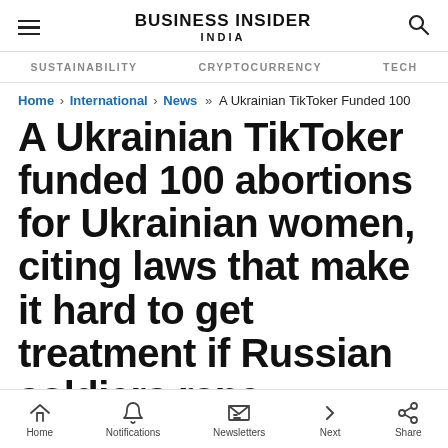BUSINESS INSIDER INDIA
SUSTAINABILITY   CRYPTOCURRENCY   TECH
Home › International › News »» A Ukrainian TikToker Funded 100
A Ukrainian TikToker funded 100 abortions for Ukrainian women, citing laws that make it hard to get treatment if Russian soldiers rape
Home   Notifications   Newsletters   Next   Share